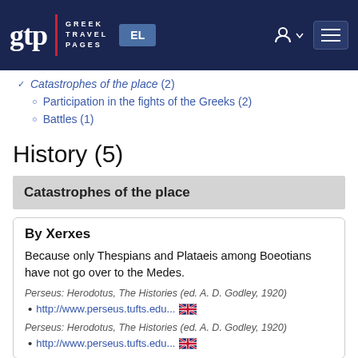gtp | GREEK TRAVEL PAGES | EL
Catastrophes of the place (2)
Participation in the fights of the Greeks (2)
Battles (1)
History (5)
Catastrophes of the place
By Xerxes
Because only Thespians and Plataeis among Boeotians have not go over to the Medes.
Perseus: Herodotus, The Histories (ed. A. D. Godley, 1920)
http://www.perseus.tufts.edu...
Perseus: Herodotus, The Histories (ed. A. D. Godley, 1920)
http://www.perseus.tufts.edu...